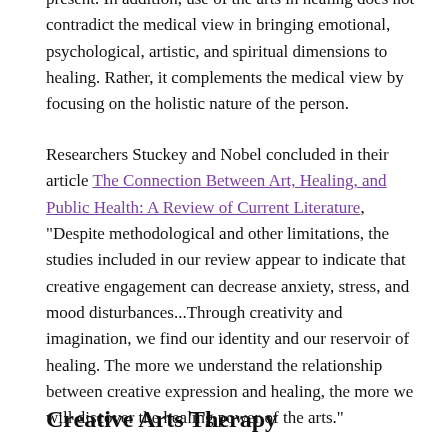because they allow the mind and body to rekindle the present. In addition, use of the arts in healing does not contradict the medical view in bringing emotional, psychological, artistic, and spiritual dimensions to healing. Rather, it complements the medical view by focusing on the holistic nature of the person.
Researchers Stuckey and Nobel concluded in their article The Connection Between Art, Healing, and Public Health: A Review of Current Literature, "Despite methodological and other limitations, the studies included in our review appear to indicate that creative engagement can decrease anxiety, stress, and mood disturbances...Through creativity and imagination, we find our identity and our reservoir of healing. The more we understand the relationship between creative expression and healing, the more we will discover the healing power of the arts."
Creative Arts Therapy